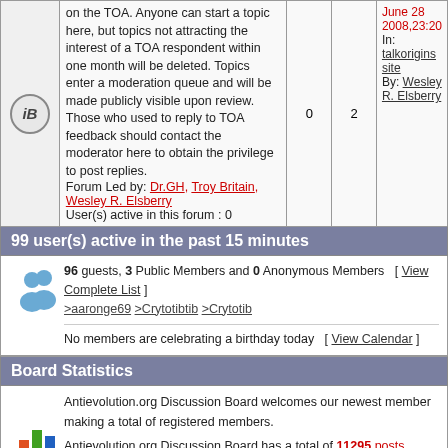on the TOA. Anyone can start a topic here, but topics not attracting the interest of a TOA respondent within one month will be deleted. Topics enter a moderation queue and will be made publicly visible upon review. Those who used to reply to TOA feedback should contact the moderator here to obtain the privilege to post replies. Forum Led by: Dr.GH, Troy Britain, Wesley R. Elsberry User(s) active in this forum : 0
0
2
June 28 2008,23:20 In: talkorigins site By: Wesley R. Elsberry
99 user(s) active in the past 15 minutes
96 guests, 3 Public Members and 0 Anonymous Members [ View Complete List ] >aaronge69 >Crytotibtib >Crytotib
No members are celebrating a birthday today [ View Calendar ]
Board Statistics
Antievolution.org Discussion Board welcomes our newest member making a total of registered members.
Antievolution.org Discussion Board has a total of 11295 posts (11285 replies to 10 Topics)
Most users ever online was 1524 on Jan. 14 2020,16:33